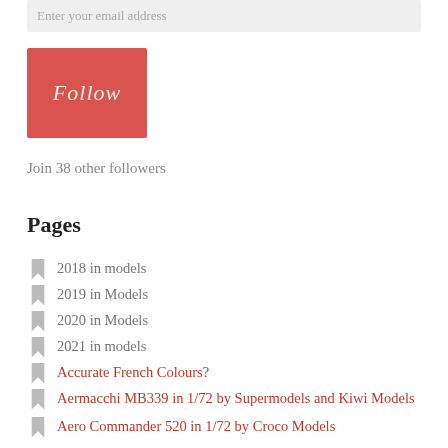Enter your email address
[Figure (other): Red Follow button]
Join 38 other followers
Pages
2018 in models
2019 in Models
2020 in Models
2021 in models
Accurate French Colours?
Aermacchi MB339 in 1/72 by Supermodels and Kiwi Models
Aero Commander 520 in 1/72 by Croco Models